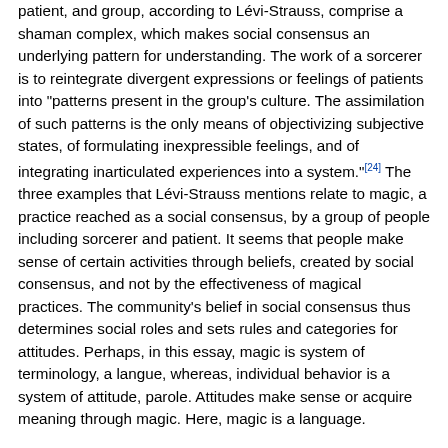patient, and group, according to Lévi-Strauss, comprise a shaman complex, which makes social consensus an underlying pattern for understanding. The work of a sorcerer is to reintegrate divergent expressions or feelings of patients into "patterns present in the group's culture. The assimilation of such patterns is the only means of objectivizing subjective states, of formulating inexpressible feelings, and of integrating inarticulated experiences into a system."[24] The three examples that Lévi-Strauss mentions relate to magic, a practice reached as a social consensus, by a group of people including sorcerer and patient. It seems that people make sense of certain activities through beliefs, created by social consensus, and not by the effectiveness of magical practices. The community's belief in social consensus thus determines social roles and sets rules and categories for attitudes. Perhaps, in this essay, magic is system of terminology, a langue, whereas, individual behavior is a system of attitude, parole. Attitudes make sense or acquire meaning through magic. Here, magic is a language.
Interpretive anthropology
Influenced by Hermeneutic tradition, Clifford Geertz developed an interpretive anthropology of understanding the meaning of the society. The hermeneutic approach allows Geertz to close the distance between an ethnographer and a given culture similar to